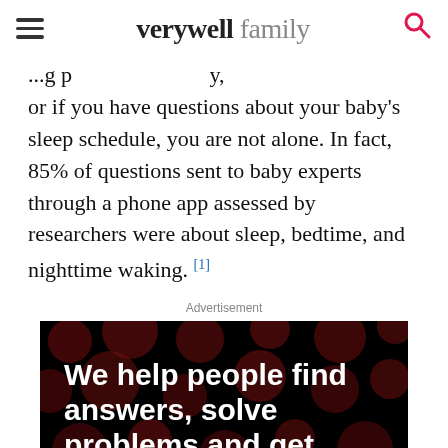verywell family
or if you have questions about your baby's sleep schedule, you are not alone. In fact, 85% of questions sent to baby experts through a phone app assessed by researchers were about sleep, bedtime, and nighttime waking. [1]
Advertisement
[Figure (photo): Advertisement banner: dark background with red bokeh dots. Large white bold text reads 'We help people find answers, solve problems and get inspired.' with a red period. Bottom bar shows 'We help people find answers, solve problems and get inspired.' with Dotdash Meredith logo.]